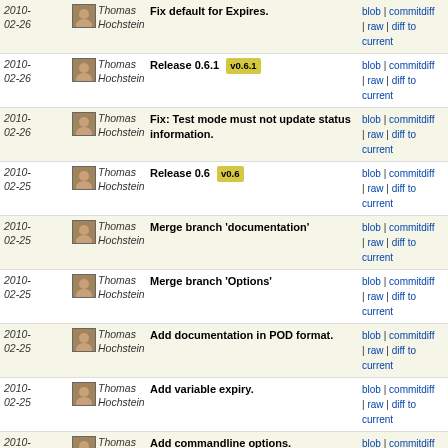| Date | Author | Message | Links |
| --- | --- | --- | --- |
| 2010-02-26 | Thomas Hochstein | Fix default for Expires. | blob | commitdiff | raw | diff to current |
| 2010-02-26 | Thomas Hochstein | Release 0.6.1 [v0.6.1] | blob | commitdiff | raw | diff to current |
| 2010-02-26 | Thomas Hochstein | Fix: Test mode must not update status information. | blob | commitdiff | raw | diff to current |
| 2010-02-25 | Thomas Hochstein | Release 0.6 [v0.6] | blob | commitdiff | raw | diff to current |
| 2010-02-25 | Thomas Hochstein | Merge branch 'documentation' | blob | commitdiff | raw | diff to current |
| 2010-02-25 | Thomas Hochstein | Merge branch 'Options' | blob | commitdiff | raw | diff to current |
| 2010-02-25 | Thomas Hochstein | Add documentation in POD format. | blob | commitdiff | raw | diff to current |
| 2010-02-25 | Thomas Hochstein | Add variable expiry. | blob | commitdiff | raw | diff to current |
| 2010-02-25 | Thomas Hochstein | Add commandline options. | blob | commitdiff | raw | diff to current |
| 2010-02-25 | Thomas Hochstein | Change: Default $NNTPServer to 'localhost' | blob | commitdiff | raw | diff to current |
| 2010-02-25 | Thomas Hochstein | Change: Add script name and Warning/Error to warn(... | blob | commitdiff | raw | diff to current |
| 2010-02-21 | Thomas Hochstein | Change: Inform user when writing to ERROR.dat. | blob | commitdiff | raw | diff to current |
| 2010-02-21 | Thomas Hochstein | Change: Don't output line number if .cfg file can't ... | blob | commitdiff | raw | diff to current |